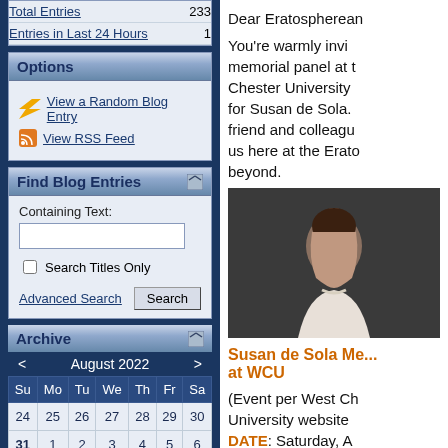| Item | Count |
| --- | --- |
| Total Entries | 233 |
| Entries in Last 24 Hours | 1 |
Options
View a Random Blog Entry
View RSS Feed
Find Blog Entries
Containing Text:
Search Titles Only
Advanced Search | Search
Archive
| Su | Mo | Tu | We | Th | Fr | Sa |
| --- | --- | --- | --- | --- | --- | --- |
| 24 | 25 | 26 | 27 | 28 | 29 | 30 |
| 31 | 1 | 2 | 3 | 4 | 5 | 6 |
| 7 | 8 | 9 | 10 | 11 | 12 | 13 |
Dear Eratospherean
You're warmly invi... memorial panel at Chester University for Susan de Sola. friend and colleague us here at the Erato beyond.
[Figure (photo): Portrait photo of Susan de Sola, a woman with curly dark hair wearing a white top and pearl necklace, against a dark background.]
Susan de Sola Me... at WCU
(Event per West Ch... University website DATE: Saturday, A...